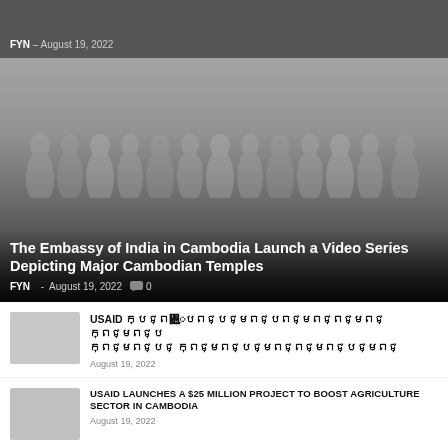FYN – August 19, 2022
[Figure (photo): Group photo of people wearing masks, overlaid with dark gradient. Hero image for article about Embassy of India in Cambodia launching a video series.]
The Embassy of India in Cambodia Launch a Video Series Depicting Major Cambodian Temples
FYN - August 19, 2022  0
USAID [Khmer text] [Khmer text]
August 19, 2022
USAID LAUNCHES A $25 MILLION PROJECT TO BOOST AGRICULTURE SECTOR IN CAMBODIA
August 19, 2022